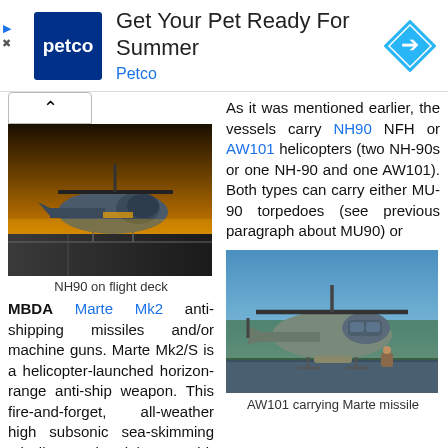[Figure (other): Petco advertisement banner: Get Your Pet Ready For Summer]
[Figure (photo): NH90 helicopter on flight deck, dramatic golden sky]
NH90 on flight deck
MBDA Marte Mk2 anti-shipping missiles and/or machine guns. Marte Mk2/S is a helicopter-launched horizon-range anti-ship weapon. This fire-and-forget, all-weather high subsonic sea-skimming missile uses inertial mid-course
As it was mentioned earlier, the vessels carry NH90 NFH or AW101 helicopters (two NH-90s or one NH-90 and one AW101). Both types can carry either MU-90 torpedoes (see previous paragraph about MU90) or
[Figure (photo): AW101 helicopter carrying Marte missile on ground]
AW101 carrying Marte missile